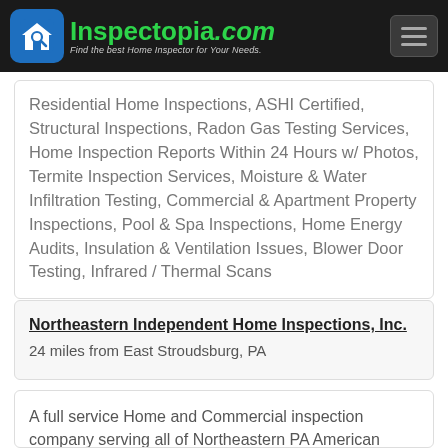Inspectopia.com — Find the best Home Inspector for Your Needs.
Residential Home Inspections, ASHI Certified, Structural Inspections, Radon Gas Testing Services, Home Inspection Reports Within 24 Hours w/ Photos, Termite Inspection Services, Moisture & Water Infiltration Testing, Commercial & Apartment Property Inspections, Pool & Spa Inspections, Home Energy Audits, Insulation & Ventilation Issues, Blower Door Testing, Infrared / Thermal Scans
Northeastern Independent Home Inspections, Inc.
24 miles from East Stroudsburg, PA
A full service Home and Commercial inspection company serving all of Northeastern PA American